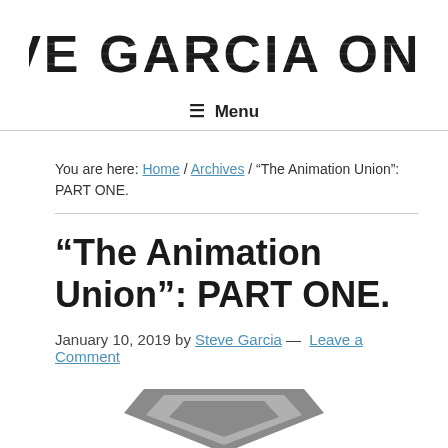STEVE GARCIA ONLINE
≡  Menu
You are here: Home / Archives / “The Animation Union”: PART ONE.
“The Animation Union”: PART ONE.
January 10, 2019 by Steve Garcia — Leave a Comment
[Figure (illustration): Partial view of a stylized graphic/logo at the bottom of the page, grey colored geometric shape resembling a shield or emblem.]